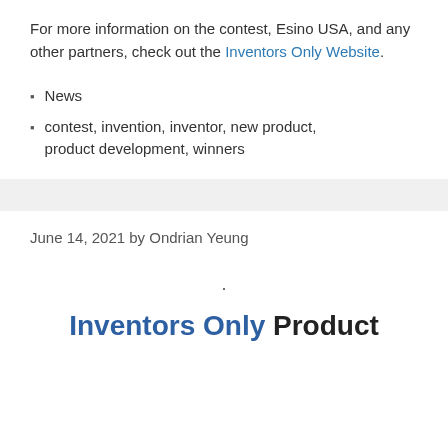For more information on the contest, Esino USA, and any other partners, check out the Inventors Only Website.
News
contest, invention, inventor, new product, product development, winners
June 14, 2021 by Ondrian Yeung
.
Inventors Only Product